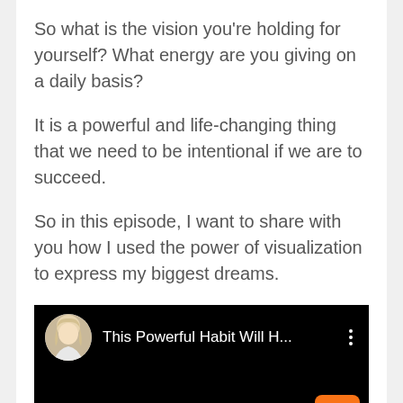So what is the vision you're holding for yourself? What energy are you giving on a daily basis?
It is a powerful and life-changing thing that we need to be intentional if we are to succeed.
So in this episode, I want to share with you how I used the power of visualization to express my biggest dreams.
[Figure (screenshot): Embedded YouTube-style video player with black background, circular avatar of a blonde woman, title text 'This Powerful Habit Will H...', three-dot menu icon, and an orange scroll-to-top button in the bottom right corner.]